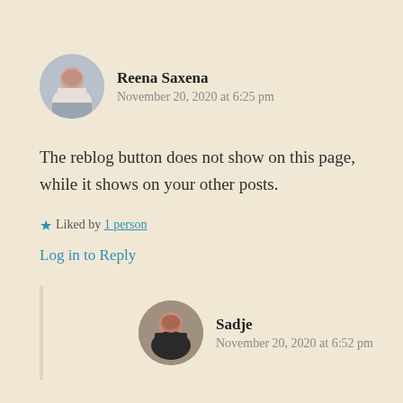[Figure (photo): Circular avatar photo of Reena Saxena]
Reena Saxena
November 20, 2020 at 6:25 pm
The reblog button does not show on this page, while it shows on your other posts.
★ Liked by 1 person
Log in to Reply
[Figure (photo): Circular avatar photo of Sadje]
Sadje
November 20, 2020 at 6:52 pm